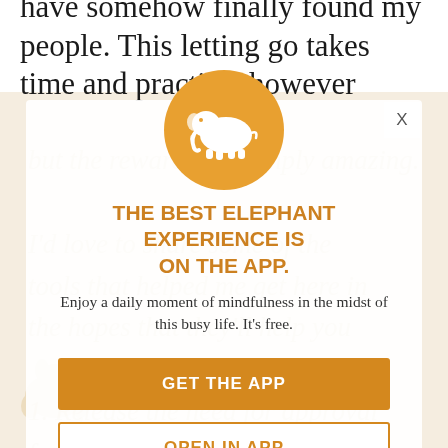have somehow finally found my people. This letting go takes time and practice, however
[Figure (illustration): Modal popup overlay with orange elephant logo on circular background, app promotion dialog]
THE BEST ELEPHANT EXPERIENCE IS ON THE APP.
Enjoy a daily moment of mindfulness in the midst of this busy life. It's free.
GET THE APP
OPEN IN APP